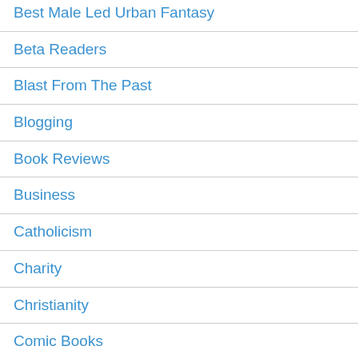Best Male Led Urban Fantasy
Beta Readers
Blast From The Past
Blogging
Book Reviews
Business
Catholicism
Charity
Christianity
Comic Books
Contests
Crime